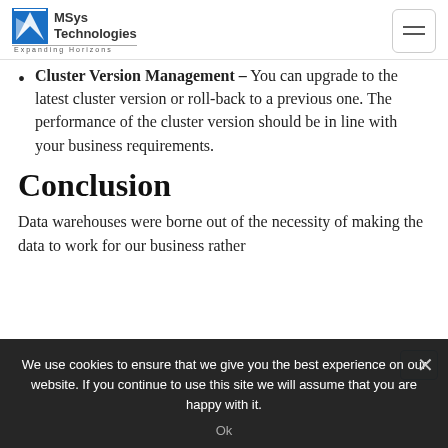MSys Technologies — Expanding Horizons
Cluster Version Management – You can upgrade to the latest cluster version or roll-back to a previous one. The performance of the cluster version should be in line with your business requirements.
Conclusion
Data warehouses were borne out of the necessity of making the data to work for our business rather than...
We use cookies to ensure that we give you the best experience on our website. If you continue to use this site we will assume that you are happy with it.
Ok